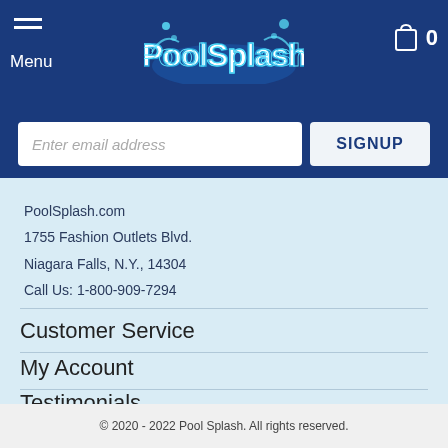Menu | PoolSplash | Cart 0
Enter email address
SIGNUP
PoolSplash.com
1755 Fashion Outlets Blvd.
Niagara Falls, N.Y., 14304
Call Us: 1-800-909-7294
Customer Service
My Account
Testimonials
© 2020 - 2022 Pool Splash. All rights reserved.